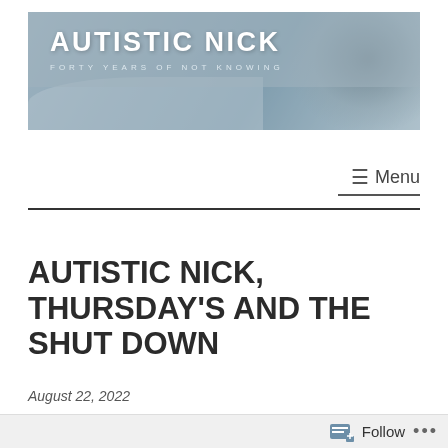[Figure (illustration): Blog header banner image for 'Autistic Nick' blog showing a hooded figure in a wintry/misty outdoor scene with overlay text. Title reads 'AUTISTIC NICK' and subtitle reads 'FORTY YEARS OF NOT KNOWING'.]
☰ Menu
AUTISTIC NICK, THURSDAY'S AND THE SHUT DOWN
August 22, 2022
Follow ...